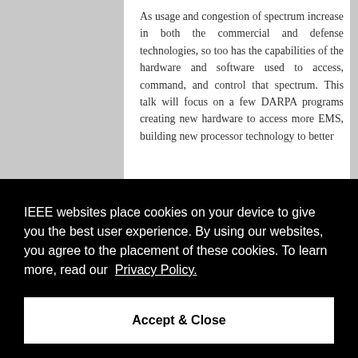As usage and congestion of spectrum increase in both the commercial and defense technologies, so too has the capabilities of the hardware and software used to access, command, and control that spectrum. This talk will focus on a few DARPA programs creating new hardware to access more EMS, building new processor technology to better
IEEE websites place cookies on your device to give you the best user experience. By using our websites, you agree to the placement of these cookies. To learn more, read our Privacy Policy.
Accept & Close